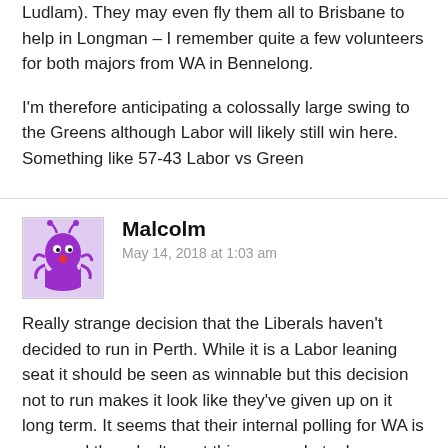Ludlam). They may even fly them all to Brisbane to help in Longman – I remember quite a few volunteers for both majors from WA in Bennelong.
I'm therefore anticipating a colossally large swing to the Greens although Labor will likely still win here. Something like 57-43 Labor vs Green
Malcolm
May 14, 2018 at 1:03 am
Really strange decision that the Liberals haven't decided to run in Perth. While it is a Labor leaning seat it should be seen as winnable but this decision not to run makes it look like they've given up on it long term. It seems that their internal polling for WA is poor and they don't want this exposed at a by election.
Labor will easily win here, without the Libs running the Greens should make the final 2PP and pick up some homeless Liberal voters, or at least their preferences, but it's not likely to be close.